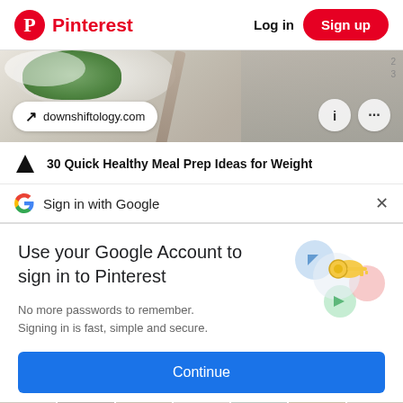Pinterest  Log in  Sign up
[Figure (photo): Food photo with green vegetable on white plate with utensil, showing downshiftology.com URL pill and info/menu icon buttons]
30 Quick Healthy Meal Prep Ideas for Weight
Sign in with Google
Use your Google Account to sign in to Pinterest
No more passwords to remember. Signing in is fast, simple and secure.
[Figure (illustration): Google account illustration with golden key and colorful circles]
Continue